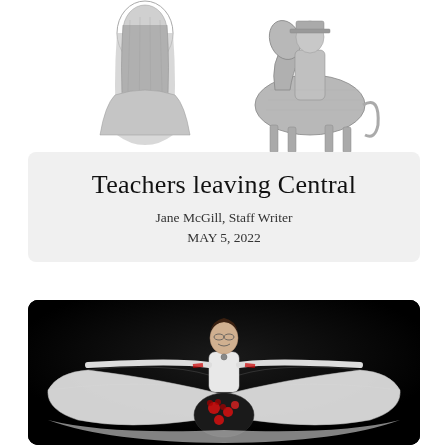[Figure (illustration): Black and white pencil sketch showing two figures: on the left a person seen from behind with long hair, on the right a figure on horseback or with a horse, both in grayscale sketched style against a white background.]
Teachers leaving Central
Jane McGill, Staff Writer
MAY 5, 2022
[Figure (photo): A person performing a traditional folk dance on a dark/black stage background, wearing a white top and a wide, flowing white lace skirt with black and red floral accents, arms outstretched holding the skirt wide, smiling.]